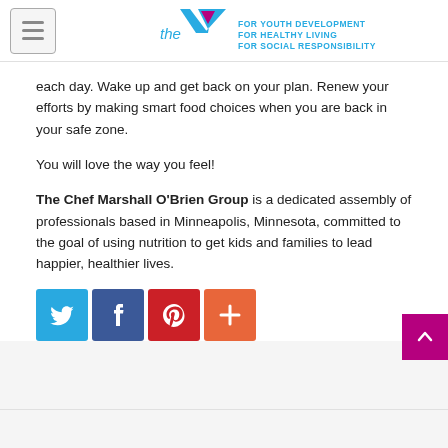[Figure (logo): YMCA logo with taglines: FOR YOUTH DEVELOPMENT, FOR HEALTHY LIVING, FOR SOCIAL RESPONSIBILITY. Hamburger menu button on left.]
each day. Wake up and get back on your plan. Renew your efforts by making smart food choices when you are back in your safe zone.
You will love the way you feel!
The Chef Marshall O'Brien Group is a dedicated assembly of professionals based in Minneapolis, Minnesota, committed to the goal of using nutrition to get kids and families to lead happier, healthier lives.
[Figure (other): Social media share buttons: Twitter (blue), Facebook (dark blue), Pinterest (red), More/Plus (orange)]